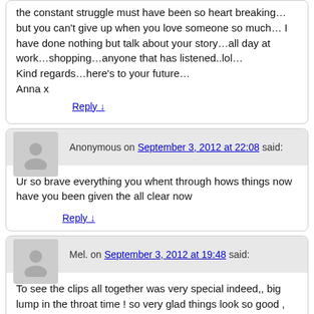the constant struggle must have been so heart breaking…but you can't give up when you love someone so much… I have done nothing but talk about your story…all day at work…shopping…anyone that has listened..lol…
Kind regards…here's to your future…
Anna x
Reply ↓
Anonymous on September 3, 2012 at 22:08 said:
Ur so brave everything you whent through hows things now have you been given the all clear now
Reply ↓
Mel. on September 3, 2012 at 19:48 said:
To see the clips all together was very special indeed,, big lump in the throat time ! so very glad things look so good , you are so lucky to have each other … mel.
Reply ↓